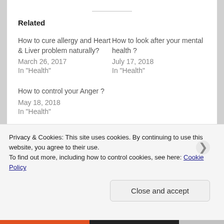Related
How to cure allergy and Heart & Liver problem naturally?
March 26, 2017
In "Health"
How to look after your mental health ?
July 17, 2018
In "Health"
How to control your Anger ?
May 18, 2018
In "Health"
Privacy & Cookies: This site uses cookies. By continuing to use this website, you agree to their use.
To find out more, including how to control cookies, see here: Cookie Policy
Close and accept